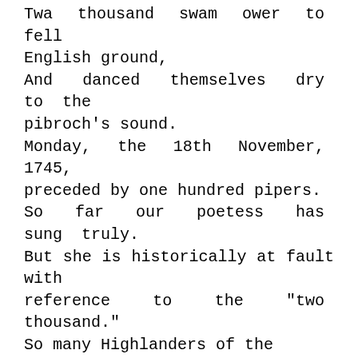Twa thousand swam ower to fell English ground, And danced themselves dry to the pibroch's sound. Monday, the 18th November, 1745, preceded by one hundred pipers. So far our poetess has sung truly. But she is historically at fault with reference to the "two thousand." So many Highlanders of the Chevalier's army did indeed wade across the Esk; but it was in flight, not in triumph. They waded the Esk on their return to Scotland from an expedition which boded disaster. That they "danced themselves dry to the pibroch's sound" is literally correct. Mr. George G. Mounsey, Author of "Authentic